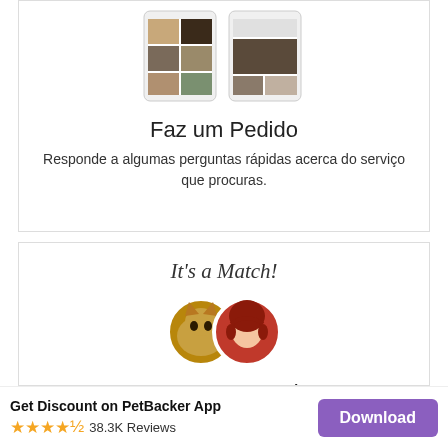[Figure (screenshot): Two phone screens showing a pet photo grid app interface]
Faz um Pedido
Responde a algumas perguntas rápidas acerca do serviço que procuras.
[Figure (illustration): It's a Match! text with two circular avatar photos - a cat and a person]
Conectar com o Sitter
Receberás até 5 ofertas com estimativas de custo
Get Discount on PetBacker App  ★★★★½  38.3K Reviews  Download